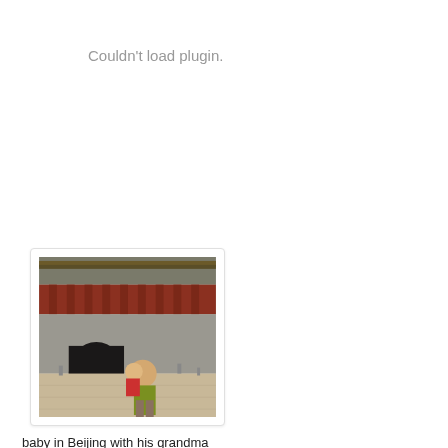Couldn't load plugin.
[Figure (photo): Photo of a woman holding a baby/toddler in front of a large Chinese gate building (likely Forbidden City or similar Beijing landmark), taken in an open plaza area.]
baby in Beijing with his grandma